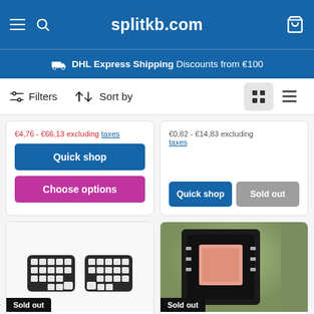splitkb.com
DHL Express Shipping Discounts from €100
Filters  Sort by
€4,76 - €66,13 excluding taxes
Quick shop
Choose options
€0,82 - €14,83 excluding taxes
Quick shop  Sold out
[Figure (photo): Split mechanical keyboard with white keycaps, two halves shown side by side. Sold out badge displayed.]
[Figure (photo): Close-up of an electronic component (switch or socket) with a pink/salmon colored element. Sold out badge displayed.]
Sold out
Gazzew Boba Black U4T